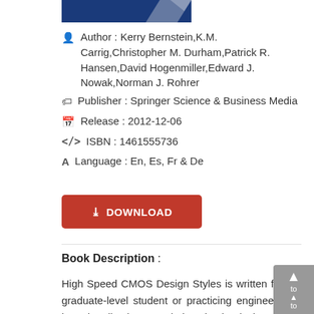[Figure (illustration): Book cover thumbnail showing blue background with partial white chevron/arrow design]
Author : Kerry Bernstein,K.M. Carrig,Christopher M. Durham,Patrick R. Hansen,David Hogenmiller,Edward J. Nowak,Norman J. Rohrer
Publisher : Springer Science & Business Media
Release : 2012-12-06
ISBN : 1461555736
Language : En, Es, Fr & De
[Figure (other): Red DOWNLOAD button with download icon]
Book Description :
High Speed CMOS Design Styles is written for the graduate-level student or practicing engineer who is primarily interested in circuit design. It is intended to provide practical reference, or `horse-sense', to mechanisms typically described with a more academic